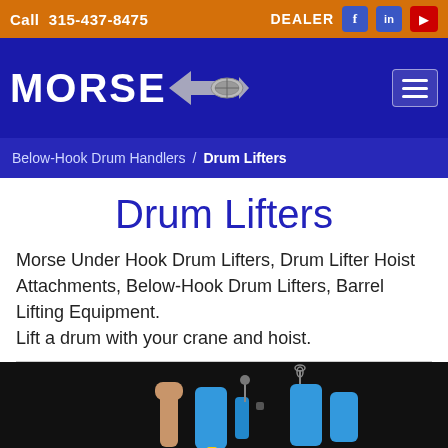Call 315-437-8475 | DEALER
[Figure (logo): Morse logo with drum graphic on blue/navy navigation bar with hamburger menu button]
Below-Hook Drum Handlers / Drum Lifters
Drum Lifters
Morse Under Hook Drum Lifters, Drum Lifter Hoist Attachments, Below-Hook Drum Lifters, Barrel Lifting Equipment. Lift a drum with your crane and hoist.
[Figure (photo): Photo of blue drum lifter equipment against dark background]